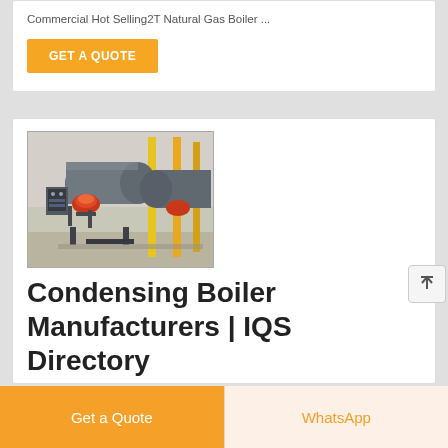Commercial Hot Selling2T Natural Gas Boiler ...
GET A QUOTE
[Figure (photo): Industrial condensing boiler equipment in a factory/warehouse setting with yellow structural supports and metal piping]
Condensing Boiler Manufacturers | IQS Directory
Precision Boilers, Inc. Morristown, TN 423-587-9390. As an ISO
Get a Quote
WhatsApp